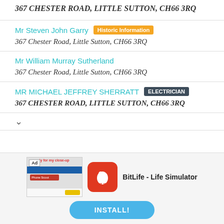367 CHESTER ROAD, LITTLE SUTTON, CH66 3RQ
Mr Steven John Garry — Historic Information
367 Chester Road, Little Sutton, CH66 3RQ
Mr William Murray Sutherland
367 Chester Road, Little Sutton, CH66 3RQ
MR MICHAEL JEFFREY SHERRATT — ELECTRICIAN
367 CHESTER ROAD, LITTLE SUTTON, CH66 3RQ
[Figure (screenshot): BitLife - Life Simulator app advertisement with install button]